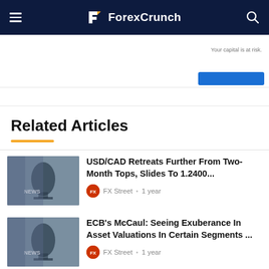ForexCrunch
Your capital is at risk.
Related Articles
USD/CAD Retreats Further From Two-Month Tops, Slides To 1.2400... FX Street • 1 year
ECB's McCaul: Seeing Exuberance In Asset Valuations In Certain Segments ... FX Street • 1 year
US: Chicago Fed National Activity Index Improves To 0.29 In May From -0.09